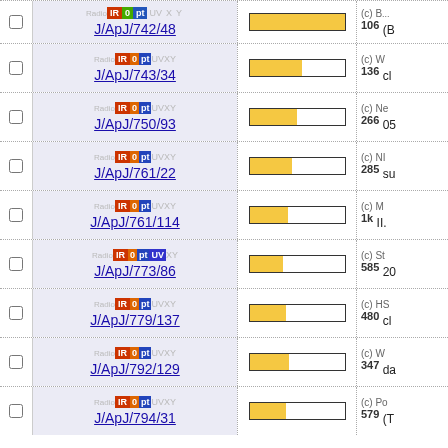J/ApJ/742/48, 106, (B...
J/ApJ/743/34, 136, (c) W... cl...
J/ApJ/750/93, 266, (c) Ne... 05...
J/ApJ/761/22, 285, (c) NI... su...
J/ApJ/761/114, 1k, (c) M... II....
J/ApJ/773/86, 585, (c) St... 20...
J/ApJ/779/137, 480, (c) HS... cl...
J/ApJ/792/129, 347, (c) W... da...
J/ApJ/794/31, 579, (c) Po... (T...